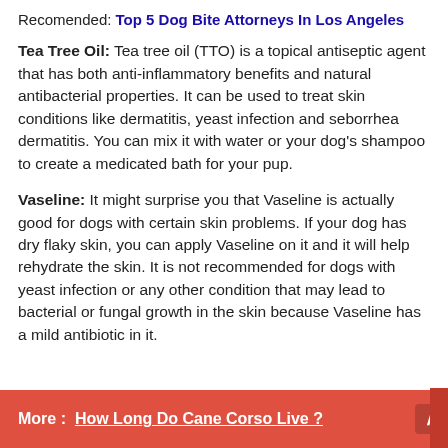Recomended: Top 5 Dog Bite Attorneys In Los Angeles
Tea Tree Oil: Tea tree oil (TTO) is a topical antiseptic agent that has both anti-inflammatory benefits and natural antibacterial properties. It can be used to treat skin conditions like dermatitis, yeast infection and seborrhea dermatitis. You can mix it with water or your dog's shampoo to create a medicated bath for your pup.
Vaseline: It might surprise you that Vaseline is actually good for dogs with certain skin problems. If your dog has dry flaky skin, you can apply Vaseline on it and it will help rehydrate the skin. It is not recommended for dogs with yeast infection or any other condition that may lead to bacterial or fungal growth in the skin because Vaseline has a mild antibiotic in it.
More : How Long Do Cane Corso Live ?